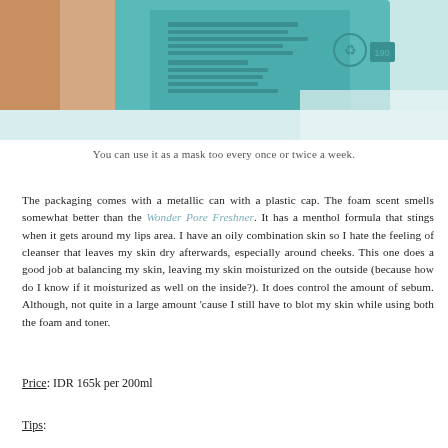[Figure (photo): Photo of a teal/turquoise product can (Etude House Wonder Pore Freshner or similar) being held, showing the back label with ingredients and product information in Korean and English.]
You can use it as a mask too every once or twice a week.
The packaging comes with a metallic can with a plastic cap. The foam scent smells somewhat better than the Wonder Pore Freshner. It has a menthol formula that stings when it gets around my lips area. I have an oily combination skin so I hate the feeling of cleanser that leaves my skin dry afterwards, especially around cheeks. This one does a good job at balancing my skin, leaving my skin moisturized on the outside (because how do I know if it moisturized as well on the inside?). It does control the amount of sebum. Although, not quite in a large amount 'cause I still have to blot my skin while using both the foam and toner.
Price: IDR 165k per 200ml
Tips: